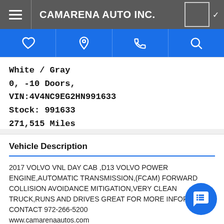CAMARENA AUTO INC.
White / Gray
0, -10 Doors,
VIN:4V4NC9EG2HN991633
Stock: 991633
271,515 Miles
Automatic Transmission
Vehicle Description
2017 VOLVO VNL DAY CAB ,D13 VOLVO POWER ENGINE,AUTOMATIC TRANSMISSION,(FCAM) FORWARD COLLISION AVOIDANCE MITIGATION,VERY CLEAN TRUCK,RUNS AND DRIVES GREAT FOR MORE INFORMATION CONTACT 972-266-5200
www.camarenaautos.com